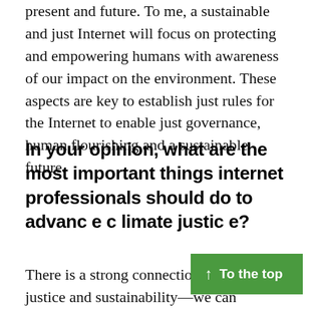present and future. To me, a sustainable and just Internet will focus on protecting and empowering humans with awareness of our impact on the environment. These aspects are key to establish just rules for the Internet to enable just governance, human flourishing and a sustainable future.
In your opinion, what are the most important things internet professionals should do to advance climate justice?
There is a strong connection between justice and sustainability—we can consider sustainability as the assurance of a just future. Unfortunately, it is difficult to achieve due to the great uncertainty regarding the environmental impact of the Internet.